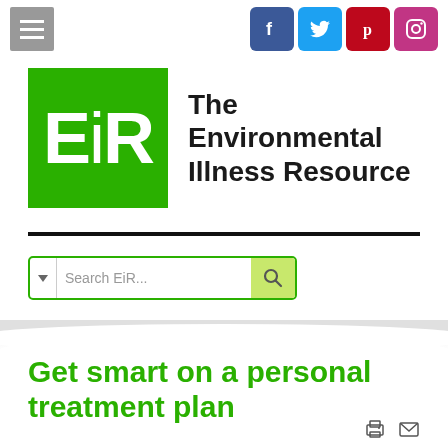[Figure (screenshot): Website header for The Environmental Illness Resource (EiR). Contains hamburger menu icon, social media icons (Facebook, Twitter, Pinterest, Instagram), EiR green logo box, site title text, horizontal divider, search bar, wave banner, and page title.]
Get smart on a personal treatment plan